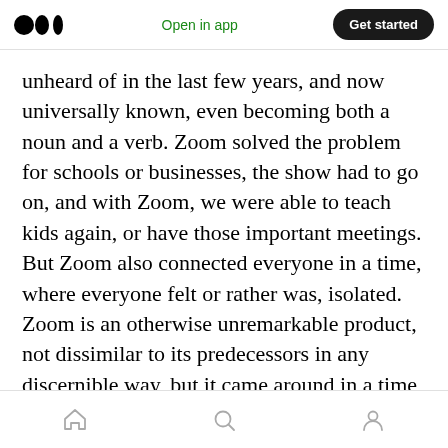Open in app | Get started
unheard of in the last few years, and now universally known, even becoming both a noun and a verb. Zoom solved the problem for schools or businesses, the show had to go on, and with Zoom, we were able to teach kids again, or have those important meetings. But Zoom also connected everyone in a time, where everyone felt or rather was, isolated. Zoom is an otherwise unremarkable product, not dissimilar to its predecessors in any discernible way, but it came around in a time, where emotionally we needed it.
Home | Search | Profile